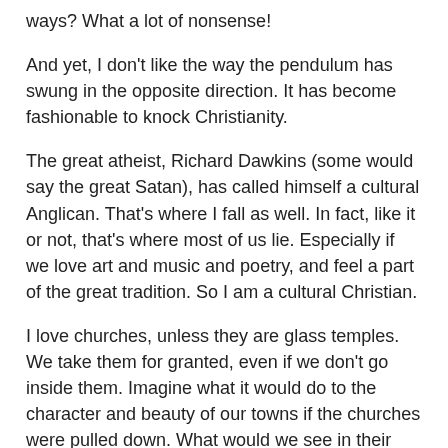ways? What a lot of nonsense!
And yet, I don't like the way the pendulum has swung in the opposite direction. It has become fashionable to knock Christianity.
The great atheist, Richard Dawkins (some would say the great Satan), has called himself a cultural Anglican. That's where I fall as well. In fact, like it or not, that's where most of us lie. Especially if we love art and music and poetry, and feel a part of the great tradition. So I am a cultural Christian.
I love churches, unless they are glass temples. We take them for granted, even if we don't go inside them. Imagine what it would do to the character and beauty of our towns if the churches were pulled down. What would we see in their place? Golden arches? Or worse?
I love the language of Christianity, and I hate to see it